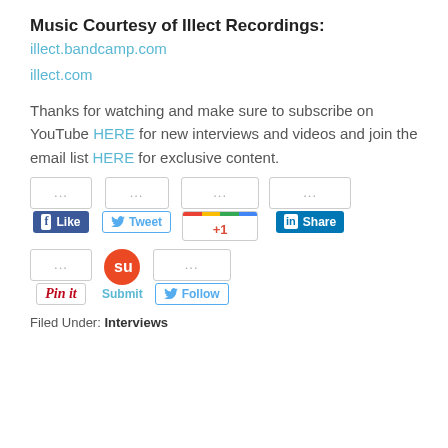Music Courtesy of Illect Recordings:
illect.bandcamp.com
illect.com
Thanks for watching and make sure to subscribe on YouTube HERE for new interviews and videos and join the email list HERE for exclusive content.
[Figure (screenshot): Social sharing buttons: Facebook Like, Tweet, Google +1, LinkedIn Share, Pinterest Pin it, StumbleUpon Submit, Twitter Follow]
Filed Under: Interviews